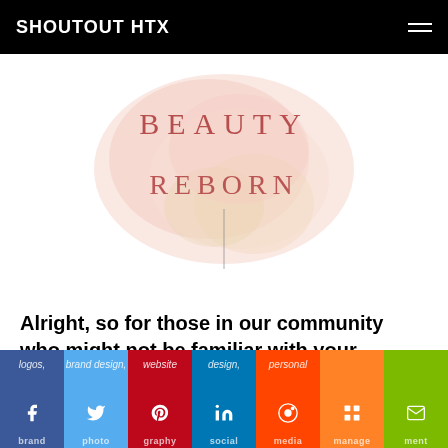SHOUTOUT HTX
[Figure (illustration): Beauty Reborn logo with soft watercolor pink/peach blot in background, text 'BEAUTY REBORN' in serif rose/red letters with a vertical line divider below]
Alright, so for those in our community who might not be familiar with your business, can you tell us more?
I created iRull Designs to be a one-stop-shop for female entrepreneurs. I help them with logos, brand design, website design, personal brand photography, social media management